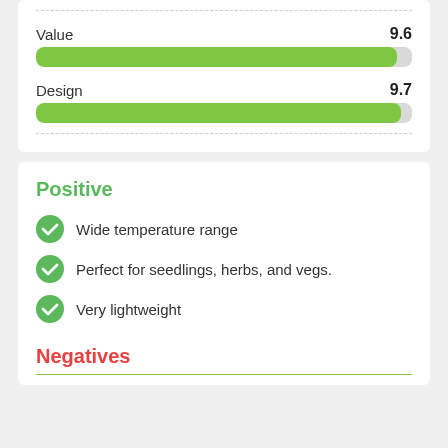[Figure (infographic): Rating bar for Value showing 9.6 out of 10 with a green progress bar]
[Figure (infographic): Rating bar for Design showing 9.7 out of 10 with a green progress bar]
Positive
Wide temperature range
Perfect for seedlings, herbs, and vegs.
Very lightweight
Negatives